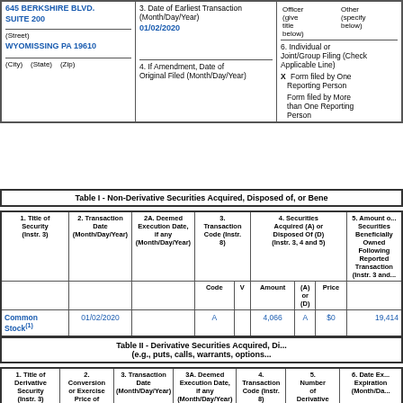| 645 BERKSHIRE BLVD.
SUITE 200 | 3. Date of Earliest Transaction (Month/Day/Year)
01/02/2020 | Officer (give title below) | Other (specify below) |
| (Street)
WYOMISSING PA 19610 | 4. If Amendment, Date of Original Filed (Month/Day/Year) | 6. Individual or Joint/Group Filing (Check Applicable Line)
X Form filed by One Reporting Person
Form filed by More than One Reporting Person |
| (City)   (State)   (Zip) |  |  |
Table I - Non-Derivative Securities Acquired, Disposed of, or Bene...
| 1. Title of Security (Instr. 3) | 2. Transaction Date (Month/Day/Year) | 2A. Deemed Execution Date, if any (Month/Day/Year) | 3. Transaction Code (Instr. 8) |  | 4. Securities Acquired (A) or Disposed Of (D) (Instr. 3, 4 and 5) |  |  | 5. Amount of Securities Beneficially Owned Following Reported Transaction (Instr. 3 and... |
| --- | --- | --- | --- | --- | --- | --- | --- | --- |
| Common Stock(1) | 01/02/2020 |  | A |  | 4,066 | A | $0 | 19,414 |
Table II - Derivative Securities Acquired, Di... (e.g., puts, calls, warrants, options...
| 1. Title of Derivative Security (Instr. 3) | 2. Conversion or Exercise Price of Derivative Security | 3. Transaction Date (Month/Day/Year) | 3A. Deemed Execution Date, if any (Month/Day/Year) | 4. Transaction Code (Instr. 8) | 5. Number of Derivative Securities Acquired | 6. Date Ex... Expiration (Month/Da... |
| --- | --- | --- | --- | --- | --- | --- |